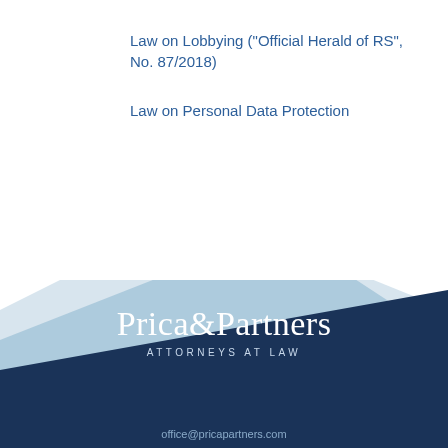Law on Lobbying ("Official Herald of RS", No. 87/2018)
Law on Personal Data Protection
[Figure (logo): Prica & Partners Attorneys at Law law firm logo with geometric blue diagonal shapes on white/navy background]
office@pricapartners.com